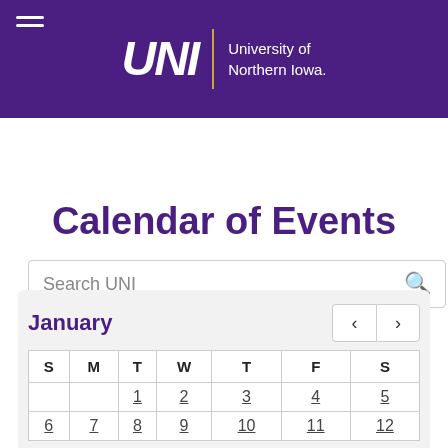UNI | University of Northern Iowa
Search UNI
Calendar of Events
| S | M | T | W | T | F | S |
| --- | --- | --- | --- | --- | --- | --- |
|  |  | 1 | 2 | 3 | 4 | 5 |
| 6 | 7 | 8 | 9 | 10 | 11 | 12 |